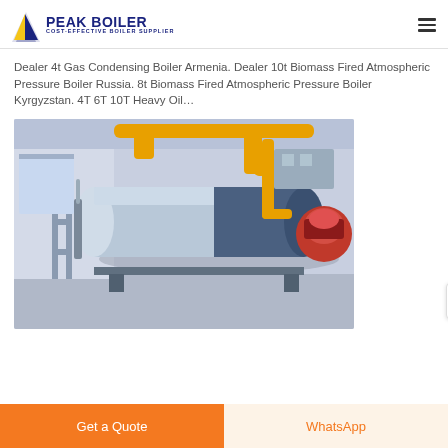PEAK BOILER - COST-EFFECTIVE BOILER SUPPLIER
Dealer 4t Gas Condensing Boiler Armenia. Dealer 10t Biomass Fired Atmospheric Pressure Boiler Russia. 8t Biomass Fired Atmospheric Pressure Boiler Kyrgyzstan. 4T 6T 10T Heavy Oil…
[Figure (photo): Industrial boiler in a facility — large horizontal cylindrical boiler body in blue/white with yellow pipes overhead, red burner component visible on the right end, piping and support structures on the left side, inside a building with light-colored walls.]
Get a Quote
WhatsApp